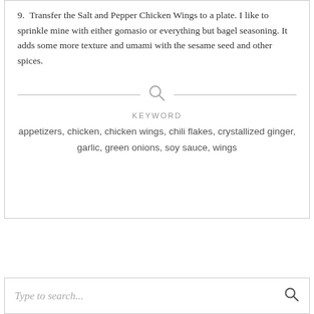9. Transfer the Salt and Pepper Chicken Wings to a plate. I like to sprinkle mine with either gomasio or everything but bagel seasoning. It adds some more texture and umami with the sesame seed and other spices.
KEYWORD
appetizers, chicken, chicken wings, chili flakes, crystallized ginger, garlic, green onions, soy sauce, wings